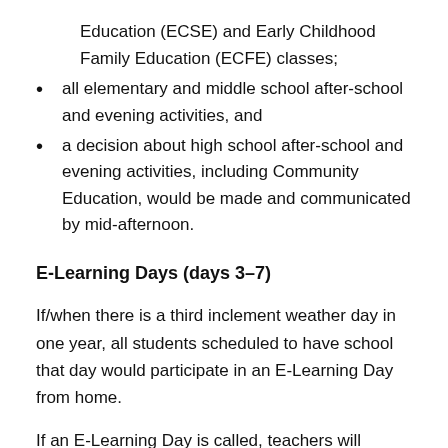Education (ECSE) and Early Childhood Family Education (ECFE) classes;
all elementary and middle school after-school and evening activities, and
a decision about high school after-school and evening activities, including Community Education, would be made and communicated by mid-afternoon.
E-Learning Days (days 3–7)
If/when there is a third inclement weather day in one year, all students scheduled to have school that day would participate in an E-Learning Day from home.
If an E-Learning Day is called, teachers will communicate with students through Seesaw and